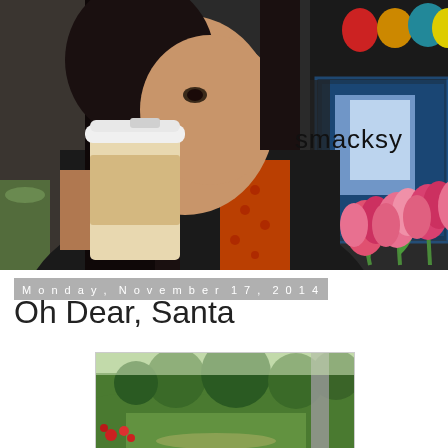[Figure (photo): Woman with dark hair drinking from a takeaway coffee cup, wearing a black top with red/orange patterned scarf, with pink tulips and cafe background visible. Text 'smacksy' appears in the upper right area of the photo.]
Monday, November 17, 2014
Oh Dear, Santa
[Figure (photo): Outdoor garden scene with green hedges, trees, and flowering plants, viewed from what appears to be a porch or covered area.]